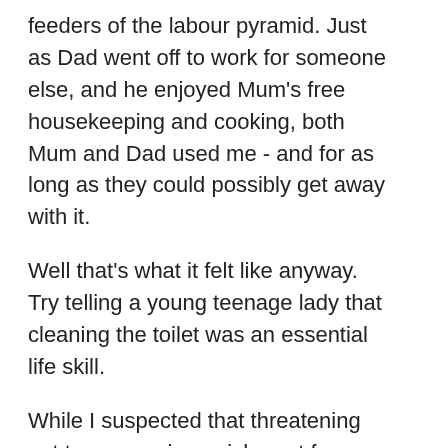feeders of the labour pyramid. Just as Dad went off to work for someone else, and he enjoyed Mum's free housekeeping and cooking, both Mum and Dad used me - and for as long as they could possibly get away with it.
Well that's what it felt like anyway. Try telling a young teenage lady that cleaning the toilet was an essential life skill.
While I suspected that threatening not to pay me in punishment for something entirely unrelated to the work I actually did days earlier, wasn't fair work practice, someone had to teach us a healthy respect for authority, what rules and agreements meant, the rewards of a strong work ethic, and how